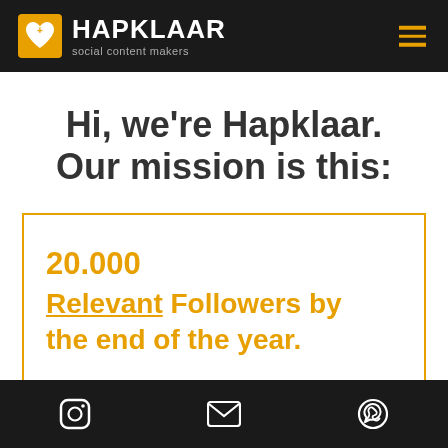HAPKLAAR social content makers
Hi, we're Hapklaar. Our mission is this:
20.000 Relevant Followers by the end of the year.
Instagram | Email | WhatsApp